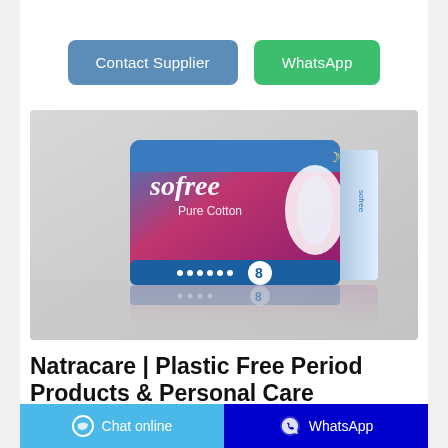[Figure (other): Contact Supplier and WhatsApp buttons at the top of the page]
[Figure (photo): Product photo of 'sofree Pure Cotton' sanitary pad package, pink/purple and blue packaging, showing 8 pads, displayed with its reflection on a light grey background]
Natracare | Plastic Free Period Products & Personal Care
Tampons. 100% certified organic cotton — and nothing else. Pads. Plastic free pads to rely on every month. Liners. Soft & breathable natural protection for everyday. Wipes.
[Figure (other): Bottom navigation bar with 'Chat online' button (light blue) on the left and 'WhatsApp' button (dark blue) on the right, each with an icon]